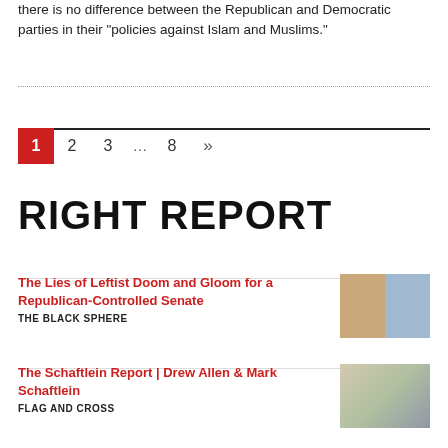there is no difference between the Republican and Democratic parties in their “policies against Islam and Muslims.”
Pagination: 1 2 3 … 8 »
RIGHT REPORT
The Lies of Leftist Doom and Gloom for a Republican-Controlled Senate
THE BLACK SPHERE
[Figure (photo): Two politicians side by side, appears to be Trump and Biden]
The Schaftlein Report | Drew Allen & Mark Schaftlein
FLAG AND CROSS
[Figure (photo): Two men in a video call screenshot, labeled Drew Allen and Mark Schaftlein]